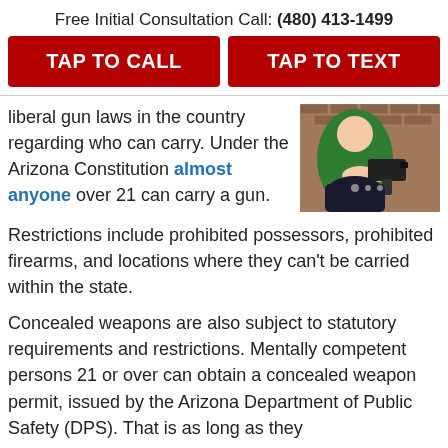Free Initial Consultation Call: (480) 413-1499
TAP TO CALL
TAP TO TEXT
liberal gun laws in the country regarding who can carry. Under the Arizona Constitution almost anyone over 21 can carry a gun.
[Figure (photo): Person in green jacket holding a black handgun, reaching into a bag]
Restrictions include prohibited possessors, prohibited firearms, and locations where they can't be carried within the state.
Concealed weapons are also subject to statutory requirements and restrictions. Mentally competent persons 21 or over can obtain a concealed weapon permit, issued by the Arizona Department of Public Safety (DPS). That is as long as they